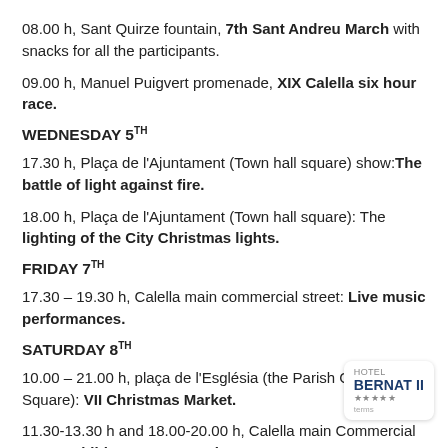08.00 h, Sant Quirze fountain,  7th Sant Andreu March with snacks for all the participants.
09.00 h, Manuel Puigvert promenade, XIX Calella six hour race.
WEDNESDAY 5TH
17.30 h, Plaça de l'Ajuntament (Town hall square) show: The battle of light against fire.
18.00 h, Plaça de l'Ajuntament (Town hall square):  The lighting of the City Christmas lights.
FRIDAY 7TH
17.30 – 19.30 h, Calella main commercial street:  Live music performances.
SATURDAY 8TH
10.00 – 21.00 h,  plaça de l'Església (the Parish Church Square): VII Christmas Market.
11.30-13.30 h and 18.00-20.00 h, Calella main Commercial Street: Children's cartoon characters.
17.30 h – 19:30 h, Calella main commercial street:  Live music performances.